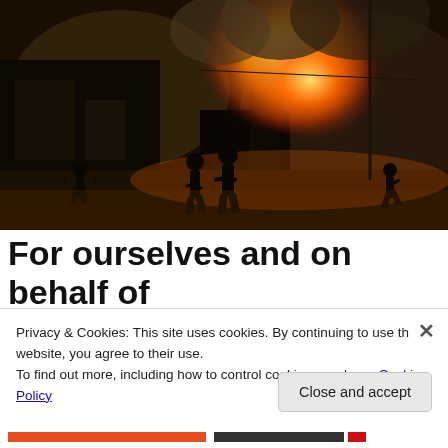[Figure (photo): Dramatic night scene showing silhouettes of people walking in front of a large building engulfed in flames and smoke. Bright orange and yellow fire illuminates the scene, with dark smoke billowing. Several people visible as dark silhouettes against the fire.]
For ourselves and on behalf of
Privacy & Cookies: This site uses cookies. By continuing to use this website, you agree to their use.
To find out more, including how to control cookies, see here: Cookie Policy